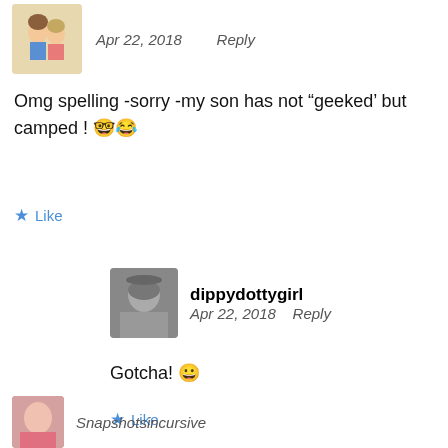[Figure (illustration): Small avatar thumbnail of two cartoon children characters]
Apr 22, 2018   Reply
Omg spelling -sorry -my son has not “geeked’ but camped ! 🤓😂
★ Like
[Figure (photo): Black and white photo of a young girl as avatar for dippydottygirl]
dippydottygirl
Apr 22, 2018   Reply
Gotcha! 😀
★ Like
[Figure (photo): Small avatar thumbnail partially visible at bottom]
Snapshotsinсursive